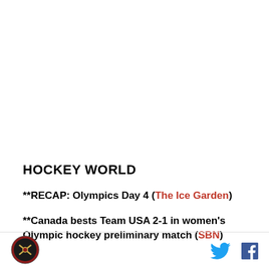HOCKEY WORLD
**RECAP: Olympics Day 4 (The Ice Garden)
**Canada bests Team USA 2-1 in women's Olympic hockey preliminary match (SBN)
Logo | Twitter | Facebook